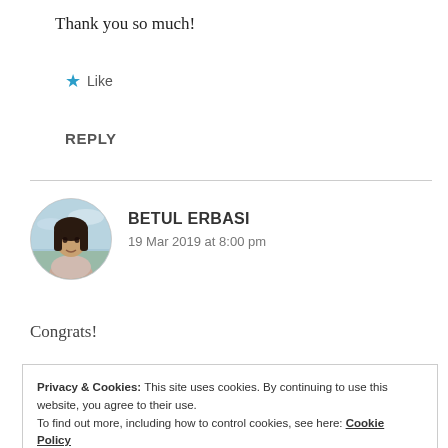Thank you so much!
★ Like
REPLY
[Figure (photo): Circular avatar photo of Betul Erbasi, a woman with dark hair standing outdoors with sky in background]
BETUL ERBASI
19 Mar 2019 at 8:00 pm
Congrats!
Privacy & Cookies: This site uses cookies. By continuing to use this website, you agree to their use.
To find out more, including how to control cookies, see here: Cookie Policy
Close and accept